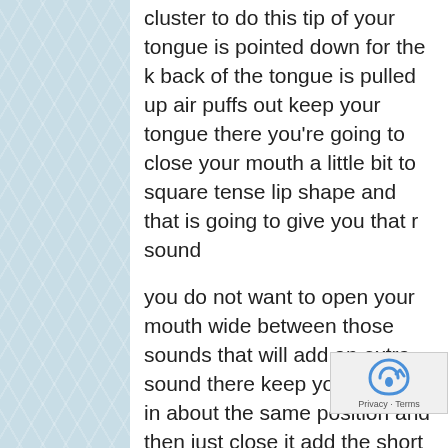cluster to do this tip of your tongue is pointed down for the k back of the tongue is pulled up air puffs out keep your tongue there you're going to close your mouth a little bit to square tense lip shape and that is going to give you that r sound
you do not want to open your mouth wide between those sounds that will add an extra sound there keep your mouth in about the same position and then just close it add the short sound relaxed mouth your mouth is slightly open tongue is just below those top teeth and then end with an s for that first syllable to do an s the tip of the tongue either behind the top teeth or pointing down it is not touching the t so that air can move out chris